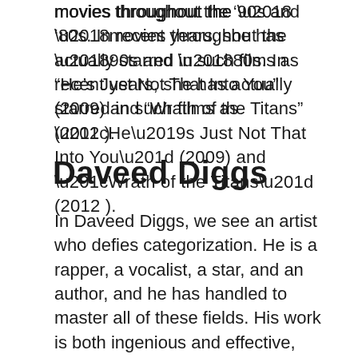movies throughout the ‘90s and ‘80s. In recent years, she has actually starred in such films as “He’s Just Not That Into You” (2009) and “Wrath of the Titans” (2012 ).
Daveed Diggs
In Daveed Diggs, we see an artist who defies categorization. He is a rapper, a vocalist, a star, and an author, and he has handled to master all of these fields. His work is both ingenious and effective, and it has actually won him crucial praise and a large following.